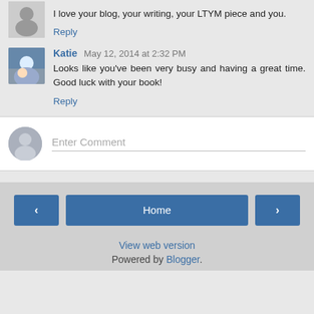I love your blog, your writing, your LTYM piece and you.
Reply
Katie  May 12, 2014 at 2:32 PM
Looks like you've been very busy and having a great time. Good luck with your book!
Reply
Enter Comment
Home
View web version
Powered by Blogger.